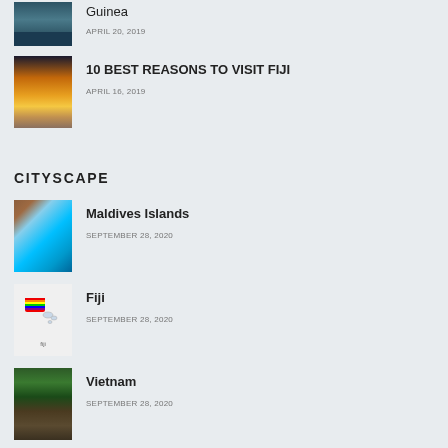Guinea — APRIL 20, 2019
10 BEST REASONS TO VISIT FIJI — APRIL 16, 2019
CITYSCAPE
Maldives Islands — SEPTEMBER 28, 2020
Fiji — SEPTEMBER 28, 2020
Vietnam — SEPTEMBER 28, 2020